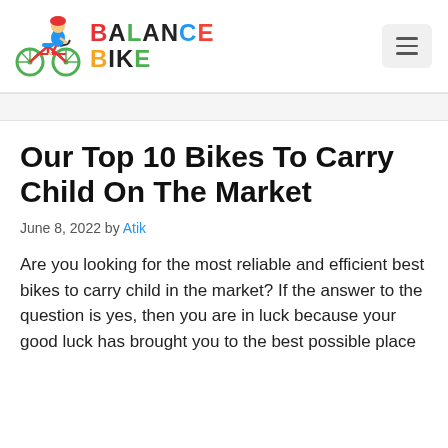BALANCE BIKE
Our Top 10 Bikes To Carry Child On The Market
June 8, 2022 by Atik
Are you looking for the most reliable and efficient best bikes to carry child in the market? If the answer to the question is yes, then you are in luck because your good luck has brought you to the best possible place